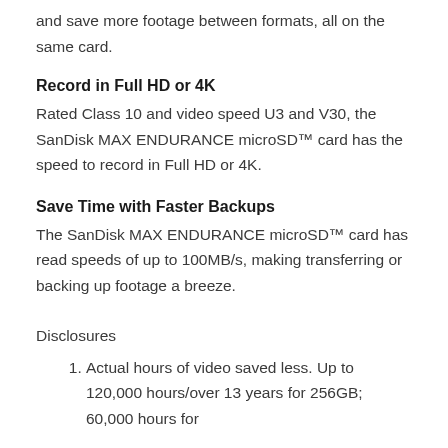and save more footage between formats, all on the same card.
Record in Full HD or 4K
Rated Class 10 and video speed U3 and V30, the SanDisk MAX ENDURANCE microSD™ card has the speed to record in Full HD or 4K.
Save Time with Faster Backups
The SanDisk MAX ENDURANCE microSD™ card has read speeds of up to 100MB/s, making transferring or backing up footage a breeze.
Disclosures
1. Actual hours of video saved less. Up to 120,000 hours/over 13 years for 256GB; 60,000 hours for